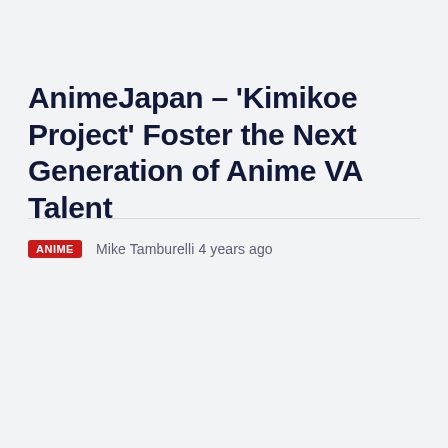AnimeJapan – 'Kimikoe Project' Foster the Next Generation of Anime VA Talent
ANIME   Mike Tamburelli 4 years ago